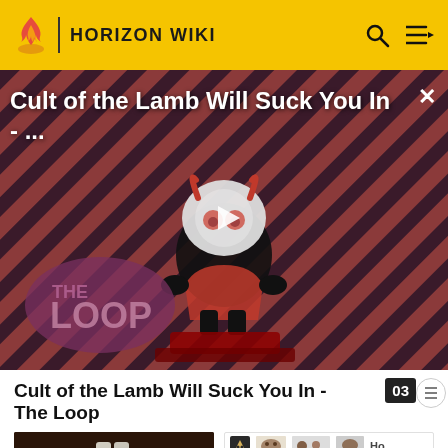HORIZON WIKI
[Figure (screenshot): Video thumbnail showing Cult of the Lamb character on a red diagonal striped background with THE LOOP branding, play button overlay, title 'Cult of the Lamb Will Suck You In - ...' and a close X button]
Cult of the Lamb Will Suck You In - The Loop
[Figure (photo): Person in white pants standing in a dark cave or rocky environment]
[Figure (screenshot): Concept art strip showing small thumbnail images with a wolf/fox icon on the left]
Concept art by Choro Choi